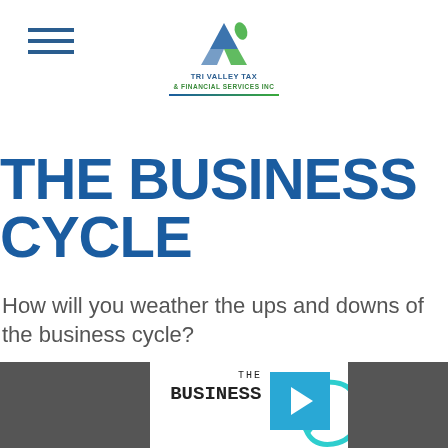Tri Valley Tax & Financial Services Inc
THE BUSINESS CYCLE
How will you weather the ups and downs of the business cycle?
[Figure (screenshot): Video thumbnail showing 'THE BUSINESS CYCLE' text with a play button overlay and teal circular arrow graphic, flanked by dark gray sidebars]